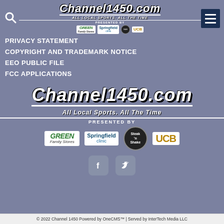Channel1450.com — All Local Sports. All The Time — Presented By [sponsor logos]
PRIVACY STATEMENT
COPYRIGHT AND TRADEMARK NOTICE
EEO PUBLIC FILE
FCC APPLICATIONS
[Figure (logo): Channel1450.com logo with tagline All Local Sports. All The Time, Presented By with sponsor logos: Green Family Stores, Springfield Clinic, Steak 'n Shake, UCB]
[Figure (logo): Facebook and Twitter social media icons]
© 2022 Channel 1450 Powered by OneCMS™ | Served by InterTech Media LLC